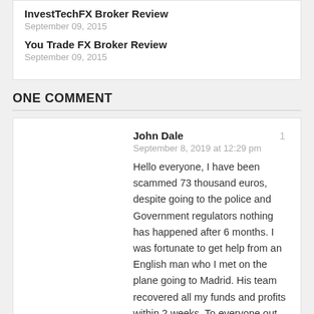InvestTechFX Broker Review
September 09, 2015
You Trade FX Broker Review
September 09, 2015
ONE COMMENT
John Dale
September 8, 2019 at 12:29 pm
Hello everyone, I have been scammed 73 thousand euros, despite going to the police and Government regulators nothing has happened after 6 months. I was fortunate to get help from an English man who I met on the plane going to Madrid. His team recovered all my funds and profits within 2 weeks. To everyone out there who have lost hard earned money, there is hope! contact:johnsday77 @ gmail dot com